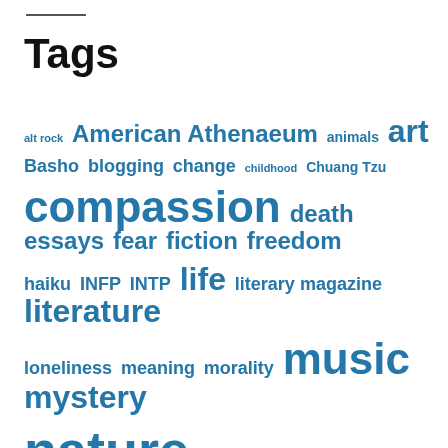Tags
[Figure (infographic): Tag cloud showing various topics in different font sizes reflecting frequency/importance. Tags include: alt rock, American Athenaeum, animals, art, Basho, blogging, change, childhood, Chuang Tzu, compassion, death, essays, fear, fiction, freedom, haiku, INFP, INTP, life, literary magazine, literature, loneliness, meaning, morality, music, mystery, nature, Oscar Wilde, pain, poetry, politics, reading, reality, rebirth, rock, Romanticism, solitude, spirituality, Sugar Mule, Taoism, The Radar Cinema, The Understanders, truth]